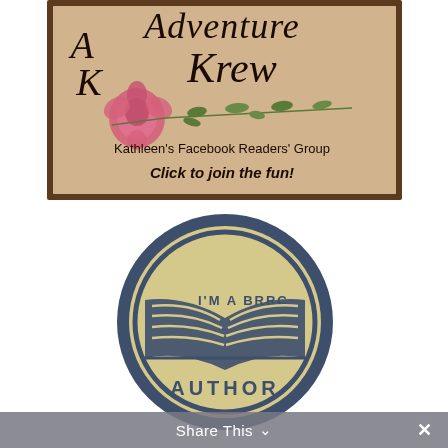[Figure (illustration): Illustrated banner for 'Adventure Krew' - Kathleen's Facebook Readers' Group. Rustic wooden-textured background with calligraphic script text 'Adventure Krew', a pink peony flower with green botanical branches, text 'Kathleen's Facebook Readers' Group' and bold italic 'Click to join the fun!']
[Figure (logo): Circular badge/logo with 'I'M A BRRC AUTHOR' text and an open book icon in dark blue/slate color on a tan/khaki background, with double-ring border.]
Share This ✓ ✕